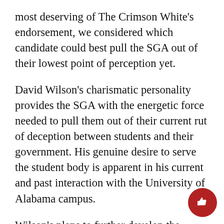most deserving of The Crimson White's endorsement, we considered which candidate could best pull the SGA out of their lowest point of perception yet.
David Wilson's charismatic personality provides the SGA with the energetic force needed to pull them out of their current rut of deception between students and their government. His genuine desire to serve the student body is apparent in his current and past interaction with the University of Alabama campus.
Wilson's plans to further develop the freshman experience in order to improve the overall student experience are insightful ideas and should be put into action. They introduce long-term solutions for helping students get more involved in campus life and understanding perspectives different from their own. Also, with focusing on the initial experience at the University, Wilson also pledged to improve